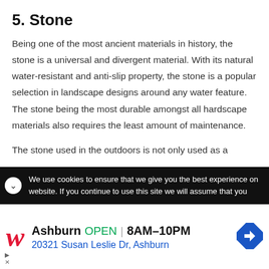5. Stone
Being one of the most ancient materials in history, the stone is a universal and divergent material. With its natural water-resistant and anti-slip property, the stone is a popular selection in landscape designs around any water feature. The stone being the most durable amongst all hardscape materials also requires the least amount of maintenance.
The stone used in the outdoors is not only used as a
We use cookies to ensure that we give you the best experience on website. If you continue to use this site we will assume that you
[Figure (other): Walgreens advertisement banner showing Ashburn location, OPEN 8AM-10PM, address 20321 Susan Leslie Dr, Ashburn, with Walgreens logo and navigation arrow icon]